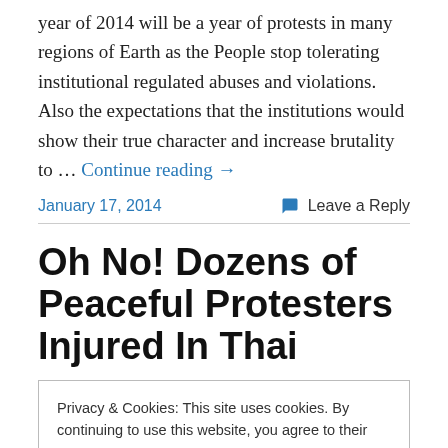year of 2014 will be a year of protests in many regions of Earth as the People stop tolerating institutional regulated abuses and violations. Also the expectations that the institutions would show their true character and increase brutality to … Continue reading →
January 17, 2014
Leave a Reply
Oh No! Dozens of Peaceful Protesters Injured In Thai
Privacy & Cookies: This site uses cookies. By continuing to use this website, you agree to their use.
To find out more, including how to control cookies, see here: Cookie Policy
Close and accept
opposition protest march in Bangkok aiming to shut down